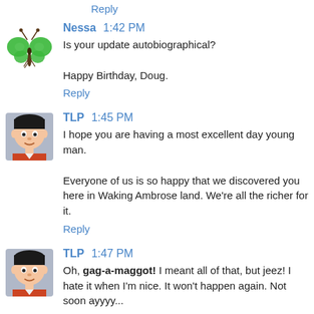Reply
Nessa 1:42 PM
Is your update autobiographical?

Happy Birthday, Doug.
Reply
TLP 1:45 PM
I hope you are having a most excellent day young man.

Everyone of us is so happy that we discovered you here in Waking Ambrose land. We’re all the richer for it.
Reply
TLP 1:47 PM
Oh, gag-a-maggot! I meant all of that, but jeez! I hate it when I'm nice. It won't happen again. Not soon ayyyy...